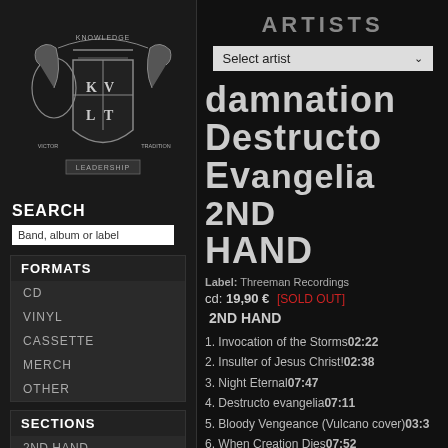[Figure (logo): KVLT heraldic crest logo with two horses, shield, and banners reading KNOWLEDGE, VICTOR, TRADITION, LEADERSHIP]
SEARCH
Band, album or label
FORMATS
CD
VINYL
CASSETTE
MERCH
OTHER
SECTIONS
2ND HAND
50% SALE
ARTISTS
Select artist
DAMNATION Destructo Evangelia 2ND HAND
Label: Threeman Recordings
cd: 19,90 € [SOLD OUT]
2ND HAND
1. Invocation of the Storms02:22
2. Insulter of Jesus Christ!02:38
3. Night Eternal07:47
4. Destructo evangelia07:11
5. Bloody Vengeance (Vulcano cover)03:3
6. When Creation Dies07:52